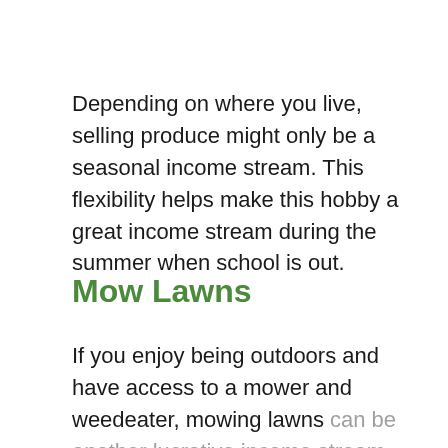Depending on where you live, selling produce might only be a seasonal income stream. This flexibility helps make this hobby a great income stream during the summer when school is out.
Mow Lawns
If you enjoy being outdoors and have access to a mower and weedeater, mowing lawns can be another lucrative income stream.